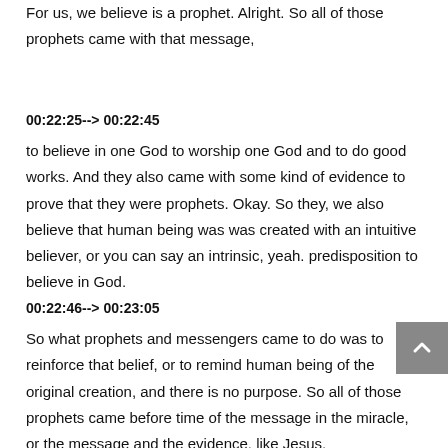For us, we believe is a prophet. Alright. So all of those prophets came with that message,
00:22:25--> 00:22:45
to believe in one God to worship one God and to do good works. And they also came with some kind of evidence to prove that they were prophets. Okay. So they, we also believe that human being was was created with an intuitive believer, or you can say an intrinsic, yeah. predisposition to believe in God.
00:22:46--> 00:23:05
So what prophets and messengers came to do was to reinforce that belief, or to remind human being of the original creation, and there is no purpose. So all of those prophets came before time of the message in the miracle, or the message and the evidence, like Jesus,